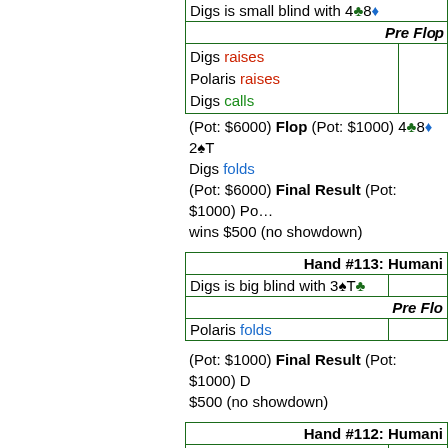Digs is small blind with 4♣8♦
Pre Flop
Digs raises
Polaris raises
Digs calls
(Pot: $6000) Flop (Pot: $1000) 4♣8♦ 2♠T
Digs folds
(Pot: $6000) Final Result (Pot: $1000) Polaris wins $500 (no showdown)
Hand #113: Human (Digs)
Digs is big blind with 3♠T♣
Pre Flop
Polaris folds
(Pot: $1000) Final Result (Pot: $1000) Digs wins $500 (no showdown)
Hand #112: Human (Digs)
Digs is small blind with 3♦Q♦
Pre Flop
Digs raises
Polaris calls
(Pot: $4000) Flop (Pot: $4000) 3♦Q♦ A♠A
Digs bets
Polaris raises